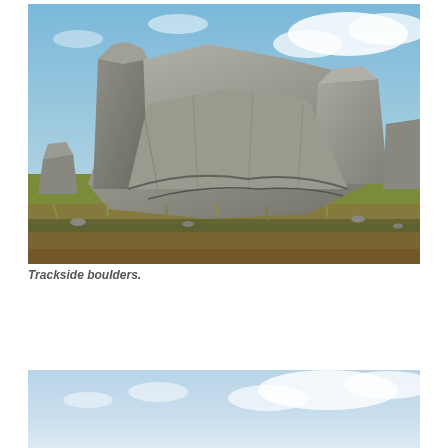[Figure (photo): Large granite boulders clustered together on a grassy moorland under a partly cloudy blue sky. The rocks are grey and weathered, stacked and leaning against each other, with green and brown grasses and smaller stones at their base.]
Trackside boulders.
[Figure (photo): Partial view of a second outdoor landscape photo showing a light blue sky with clouds, cropped at the bottom of the page.]